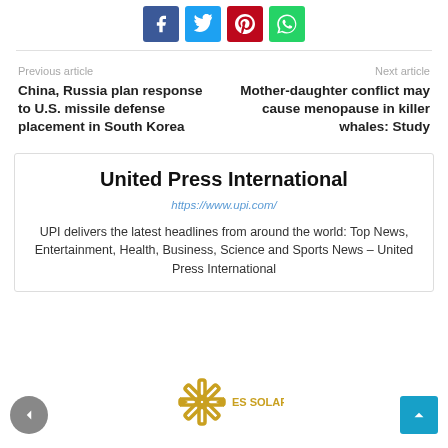[Figure (other): Social share buttons: Facebook (blue), Twitter (cyan), Pinterest (red), WhatsApp (green)]
Previous article
China, Russia plan response to U.S. missile defense placement in South Korea
Next article
Mother-daughter conflict may cause menopause in killer whales: Study
United Press International
https://www.upi.com/
UPI delivers the latest headlines from around the world: Top News, Entertainment, Health, Business, Science and Sports News – United Press International
[Figure (logo): ES Solar logo — asterisk/snowflake icon in yellow/gold with text ES SOLAR]